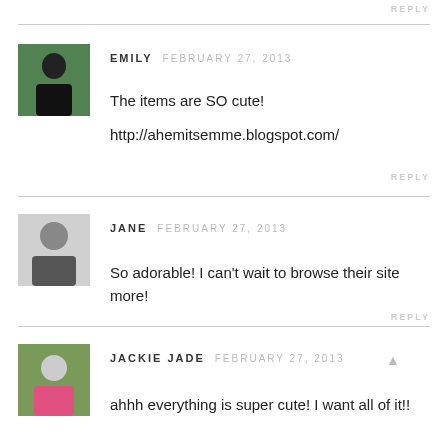REPLY
EMILY  FEBRUARY 27, 2013
The items are SO cute!
http://ahemitsemme.blogspot.com/
REPLY
JANE  FEBRUARY 27, 2013
So adorable! I can't wait to browse their site more!
REPLY
JACKIE JADE  FEBRUARY 27, 2013
ahhh everything is super cute! I want all of it!!